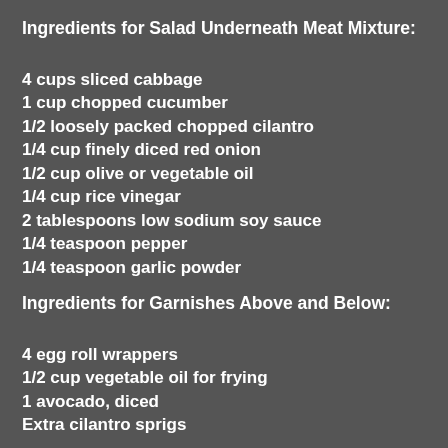Ingredients for Salad Underneath Meat Mixture:
4 cups sliced cabbage
1 cup chopped cucumber
1/2 loosely packed chopped cilantro
1/4 cup finely diced red onion
1/2 cup olive or vegetable oil
1/4 cup rice vinegar
2 tablespoons low sodium soy sauce
1/4 teaspoon pepper
1/4 teaspoon garlic powder
Ingredients for Garnishes Above and Below:
4 egg roll wrappers
1/2 cup vegetable oil for frying
1 avocado, diced
Extra cilantro sprigs
Procedure: